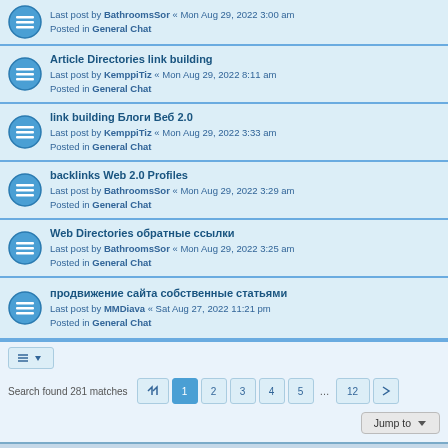Last post by BathroomsSor « Mon Aug 29, 2022 3:00 am
Posted in General Chat
Article Directories link building
Last post by KemppiTiz « Mon Aug 29, 2022 8:11 am
Posted in General Chat
link building Блоги Веб 2.0
Last post by KemppiTiz « Mon Aug 29, 2022 3:33 am
Posted in General Chat
backlinks Web 2.0 Profiles
Last post by BathroomsSor « Mon Aug 29, 2022 3:29 am
Posted in General Chat
Web Directories обратные ссылки
Last post by BathroomsSor « Mon Aug 29, 2022 3:25 am
Posted in General Chat
продвижение сайта собственные статьями
Last post by MMDiava « Sat Aug 27, 2022 11:21 pm
Posted in General Chat
Search found 281 matches
Board index   Contact us   Delete cookies   All times are UTC+01:00